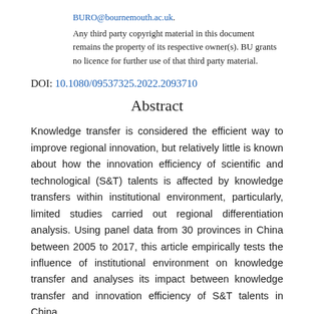BURO@bournemouth.ac.uk.
Any third party copyright material in this document remains the property of its respective owner(s). BU grants no licence for further use of that third party material.
DOI: 10.1080/09537325.2022.2093710
Abstract
Knowledge transfer is considered the efficient way to improve regional innovation, but relatively little is known about how the innovation efficiency of scientific and technological (S&T) talents is affected by knowledge transfers within institutional environment, particularly, limited studies carried out regional differentiation analysis. Using panel data from 30 provinces in China between 2005 to 2017, this article empirically tests the influence of institutional environment on knowledge transfer and analyses its impact between knowledge transfer and innovation efficiency of S&T talents in China